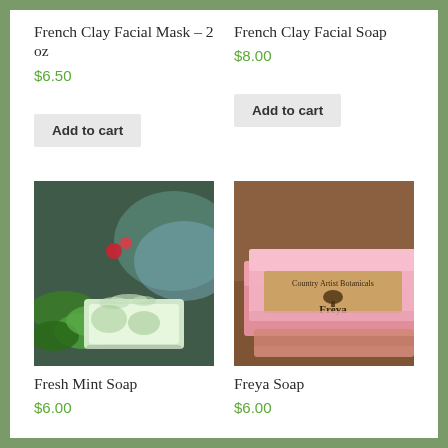French Clay Facial Mask – 2 oz
$6.50
Add to cart
French Clay Facial Soap
$8.00
Add to cart
[Figure (photo): Photo of a green and white handmade soap bar on rocks near greenery and water]
Fresh Mint Soap
$6.00
[Figure (photo): Photo of pink Freya handmade soap bars with Country Artist Botanicals label]
Freya Soap
$6.00